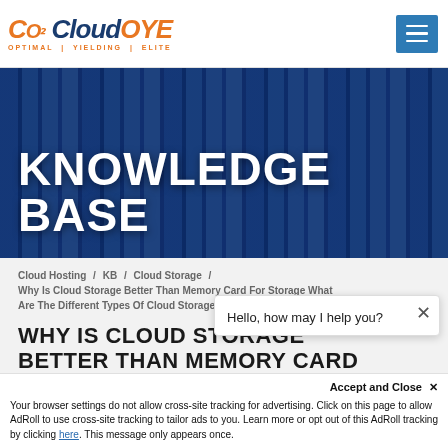CloudOYE — OPTIMAL | YIELDING | ELITE — Navigation menu
[Figure (screenshot): CloudOYE logo with orange CO graphic, blue 'Cloud' and orange 'OYE' text, subtitle OPTIMAL | YIELDING | ELITE, and blue hamburger menu icon on right]
KNOWLEDGE BASE
Cloud Hosting / KB / Cloud Storage / Why Is Cloud Storage Better Than Memory Card For Storage What Are The Different Types Of Cloud Storage
WHY IS CLOUD STORAGE BETTER THAN MEMORY CARD FOR STORAGE, WHAT ARE THE DIFFERENT TYPES OF CLOUD STORAGE
Hello, how may I help you?
Accept and Close ✕
Your browser settings do not allow cross-site tracking for advertising. Click on this page to allow AdRoll to use cross-site tracking to tailor ads to you. Learn more or opt out of this AdRoll tracking by clicking here. This message only appears once.